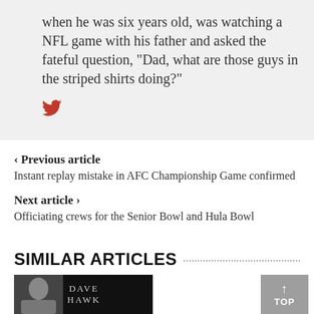when he was six years old, was watching a NFL game with his father and asked the fateful question, "Dad, what are those guys in the striped shirts doing?"
‹ Previous article
Instant replay mistake in AFC Championship Game confirmed
Next article ›
Officiating crews for the Senior Bowl and Hula Bowl
SIMILAR ARTICLES
[Figure (photo): Book cover thumbnail with photo of Dave Hawk]